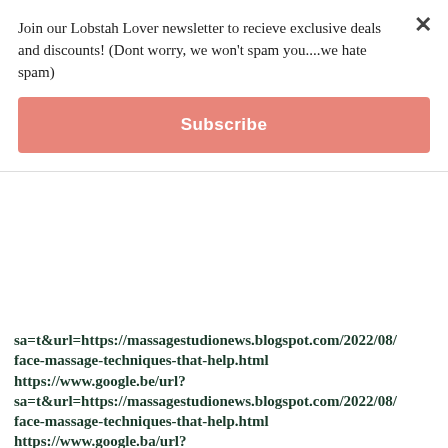Join our Lobstah Lover newsletter to recieve exclusive deals and discounts! (Dont worry, we won't spam you....we hate spam)
Subscribe
sa=t&url=https://massagestudionews.blogspot.com/2022/08/face-massage-techniques-that-help.html
https://www.google.be/url?
sa=t&url=https://massagestudionews.blogspot.com/2022/08/face-massage-techniques-that-help.html
https://www.google.ba/url?
sa=t&url=https://massagestudionews.blogspot.com/2022/08/face-massage-techniques-that-help.html
https://www.google.az/url?
sa=t&url=https://massagestudionews.blogspot.com/2022/08/face-massage-techniques-that-help.html
https://www.google.at/url?